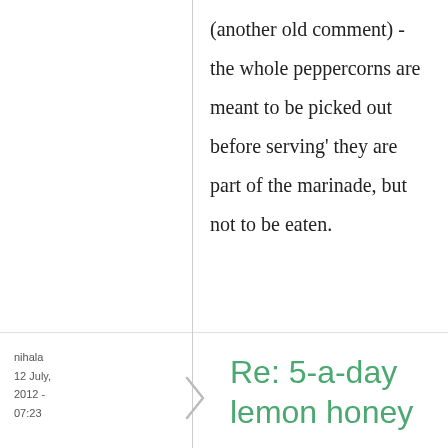(another old comment) - the whole peppercorns are meant to be picked out before serving' they are part of the marinade, but not to be eaten.
nihala
12 July, 2012 - 07:23
Re: 5-a-day lemon honey